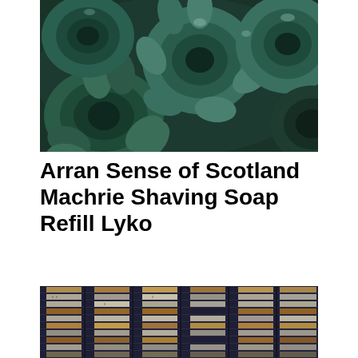[Figure (photo): Close-up photo of green and blue-tinted succulent plants with rosette shapes, arranged tightly together, dark background visible between leaves.]
Arran Sense of Scotland Machrie Shaving Soap Refill Lyko
[Figure (photo): Night-time photo of a large office building with illuminated windows showing people working inside, dark purple-blue exterior, city skyline context.]